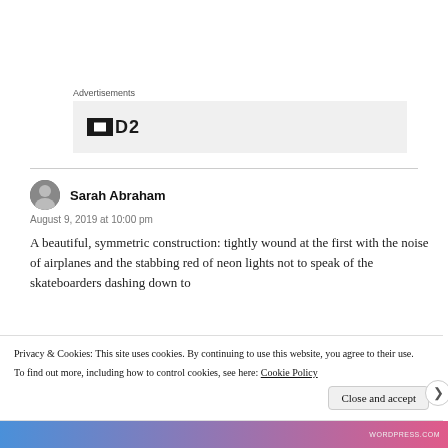Advertisements
[Figure (logo): Advertisement box with dark square icon and bold text 'D2']
Sarah Abraham
August 9, 2019 at 10:00 pm
A beautiful, symmetric construction: tightly wound at the first with the noise of airplanes and the stabbing red of neon lights not to speak of the skateboarders dashing down to
Privacy & Cookies: This site uses cookies. By continuing to use this website, you agree to their use. To find out more, including how to control cookies, see here: Cookie Policy
Close and accept